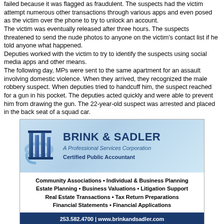failed because it was flagged as fraudulent. The suspects had the victim attempt numerous other transactions through various apps and even posed as the victim over the phone to try to unlock an account.
The victim was eventually released after three hours. The suspects threatened to send the nude photos to anyone on the victim's contact list if he told anyone what happened.
Deputies worked with the victim to try to identify the suspects using social media apps and other means.
The following day, MPs were sent to the same apartment for an assault involving domestic violence. When they arrived, they recognized the male robbery suspect. When deputies tried to handcuff him, the suspect reached for a gun in his pocket. The deputies acted quickly and were able to prevent him from drawing the gun. The 22-year-old suspect was arrested and placed in the back seat of a squad car.
[Figure (other): Advertisement for Brink & Sadler, A Professional Services Corporation, Certified Public Accountant. Services listed: Community Associations, Individual & Business Planning, Estate Planning, Business Valuations, Litigation Support, Real Estate Transactions, Tax Return Preparations, Financial Statements, Financial Applications. Contact: 253.582.4700 | www.brinkandsadler.com | 5127 112th St SW Lakewood WA 98499]
According to the squad car's rear-facing camera, the suspect placed his handcuffs on the front of his body and broke the inner panel of the door as he attempted to escape. He also broke the top of the seat belt buckle and used it as a tool to aid in his escape efforts. The car had to be taken out of service until it could be repaired.Prosecutors charged the male suspect with first-degree robbery, first-degree kidnapping, first-degree racketeering, first-degree unlawful possession of weapons, and first-degree malicious mischief. His bail was set at $125,000.
The male suspect has multiple criminal records, including a juvenile conviction of first-degree robbery and second-degree assault and home burglary convictions as an adult. He also has a criminal record for illegal